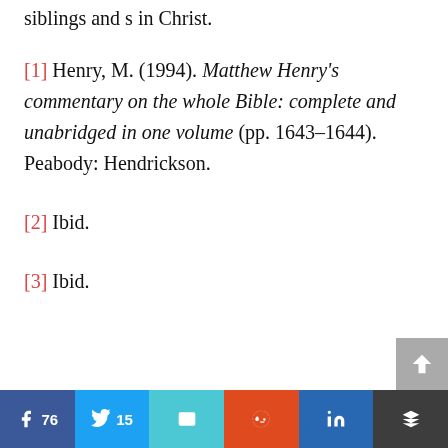siblings and s in Christ.
[1] Henry, M. (1994). Matthew Henry's commentary on the whole Bible: complete and unabridged in one volume (pp. 1643–1644). Peabody: Hendrickson.
[2] Ibid.
[3] Ibid.
[Figure (infographic): Social sharing buttons row: Facebook (76), Twitter (15), Email, Reddit, LinkedIn, Buffer; with a scroll-to-top button (grey arrow up) on the right side.]